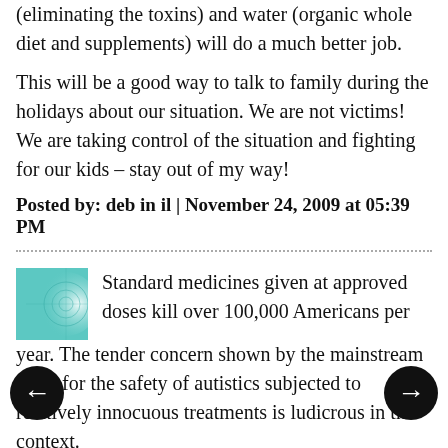(eliminating the toxins) and water (organic whole diet and supplements) will do a much better job.
This will be a good way to talk to family during the holidays about our situation. We are not victims! We are taking control of the situation and fighting for our kids – stay out of my way!
Posted by: deb in il | November 24, 2009 at 05:39 PM
[Figure (illustration): Teal/cyan square avatar icon with a geometric circular pattern]
Standard medicines given at approved doses kill over 100,000 Americans per year. The tender concern shown by the mainstream press for the safety of autistics subjected to relatively innocuous treatments is ludicrous in this context.
Posted by: Ted Van Oschree | November 24, 2009 at